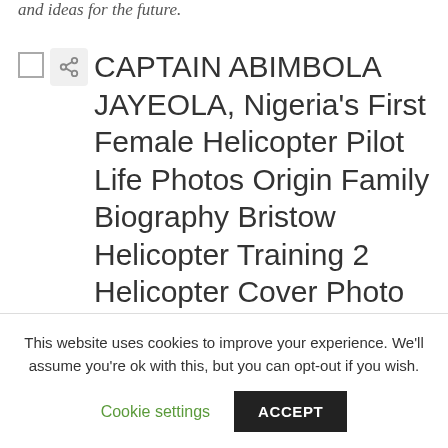and ideas for the future.
CAPTAIN ABIMBOLA JAYEOLA, Nigeria's First Female Helicopter Pilot Life Photos Origin Family Biography Bristow Helicopter Training 2 Helicopter Cover Photo
This website uses cookies to improve your experience. We'll assume you're ok with this, but you can opt-out if you wish.
Cookie settings   ACCEPT